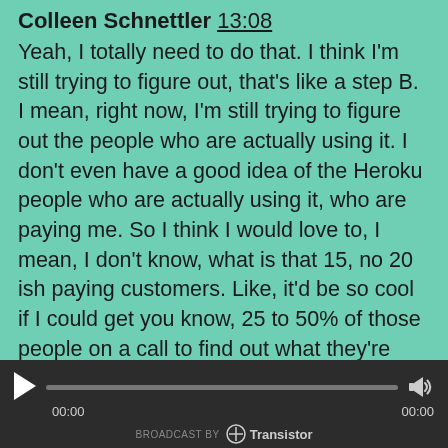Colleen Schnettler 13:08
Yeah, I totally need to do that. I think I'm still trying to figure out, that's like a step B. I mean, right now, I'm still trying to figure out the people who are actually using it. I don't even have a good idea of the Heroku people who are actually using it, who are paying me. So I think I would love to, I mean, I don't know, what is that 15, no 20 ish paying customers. Like, it'd be so cool if I could get you know, 25 to 50% of those people on a call to find out what they're doing. So I'm kind of still struggling even to figure out what people who are using it now
[Figure (other): Audio player with play button, progress bar, volume icon, timestamps 00:00 and 00:00, and Transistor branding at the bottom]